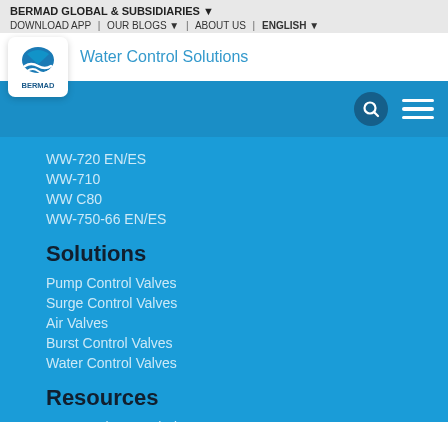BERMAD GLOBAL & SUBSIDIARIES
DOWNLOAD APP | OUR BLOGS | ABOUT US | ENGLISH
[Figure (logo): BERMAD company logo — blue wave/fish design with BERMAD text below, on white rounded square background]
Water Control Solutions
WW-720 EN/ES
WW-710
WW C80
WW-750-66 EN/ES
Solutions
Pump Control Valves
Surge Control Valves
Air Valves
Burst Control Valves
Water Control Valves
Resources
Waterworks Knowledge Center